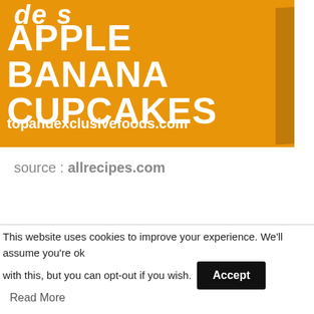[Figure (illustration): Orange background banner image showing text 'APPLE BANANA CUPCAKES' in large white bold uppercase letters with partial cursive text at top and website URL topandexclusivefoods.com at bottom]
source : allrecipes.com
This website uses cookies to improve your experience. We'll assume you're ok with this, but you can opt-out if you wish.  Accept  Read More